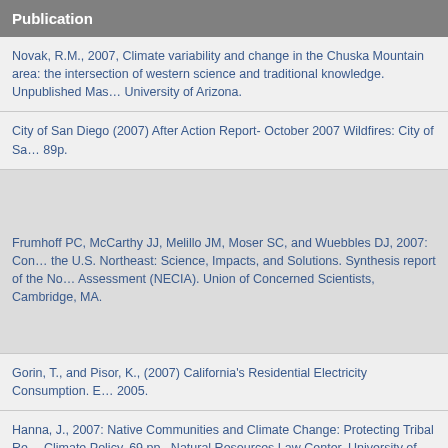Publication
Novak, R.M., 2007, Climate variability and change in the Chuska Mountain area: the intersection of western science and traditional knowledge. Unpublished Master's thesis, University of Arizona.
City of San Diego (2007) After Action Report- October 2007 Wildfires: City of San Diego. 89p.
Frumhoff PC, McCarthy JJ, Melillo JM, Moser SC, and Wuebbles DJ, 2007: Confronting Climate Change in the U.S. Northeast: Science, Impacts, and Solutions. Synthesis report of the Northeast Climate Impacts Assessment (NECIA). Union of Concerned Scientists, Cambridge, MA.
Gorin, T., and Pisor, K., (2007) California's Residential Electricity Consumption. 2005.
Hanna, J., 2007: Native Communities and Climate Change: Protecting Tribal Resources as Part of National Climate Policy. 69 pp., Natural Resources Law Center, University of Colorado School of Law, Boulder, Colorado. URL